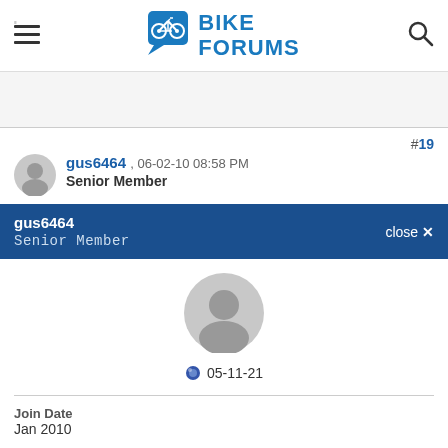BIKE FORUMS
#19
gus6464 , 06-02-10 08:58 PM
Senior Member
gus6464 Senior Member close ✕
[Figure (illustration): Large grey user avatar circle icon]
05-11-21
Join Date
Jan 2010